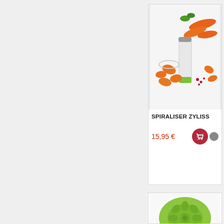[Figure (photo): Photo of a spiralizer kitchen tool (Zyliss brand) with carrots and sliced vegetables on a white background]
SPIRALISER ZYLISS
15,95 €
[Figure (photo): Photo of a green silicone decorative mold with floral/mandala pattern]